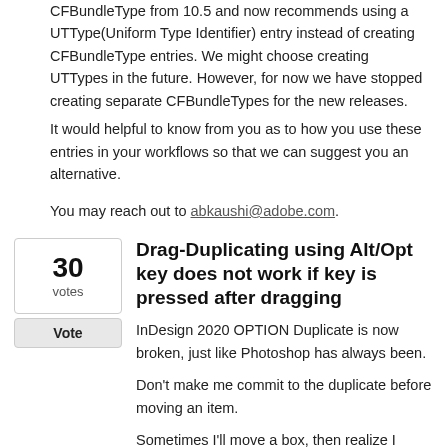CFBundleType from 10.5 and now recommends using a UTType(Uniform Type Identifier) entry instead of creating CFBundleType entries. We might choose creating UTTypes in the future. However, for now we have stopped creating separate CFBundleTypes for the new releases.
It would helpful to know from you as to how you use these entries in your workflows so that we can suggest you an alternative.
You may reach out to abkaushi@adobe.com.
Drag-Duplicating using Alt/Opt key does not work if key is pressed after dragging
InDesign 2020 OPTION Duplicate is now broken, just like Photoshop has always been.
Don't make me commit to the duplicate before moving an item.
Sometimes I'll move a box, then realize I intended to duplicate it, so then I'll press OPTION - now I have to